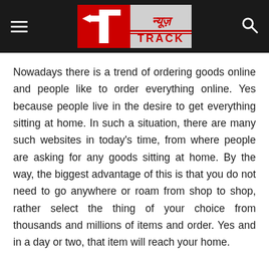[Figure (logo): News Track logo with Hindi text न्यूज़ and TRACK in red and silver/grey, with hamburger menu icon on left and search icon on right, all on dark background header bar]
Nowadays there is a trend of ordering goods online and people like to order everything online. Yes because people live in the desire to get everything sitting at home. In such a situation, there are many such websites in today's time, from where people are asking for any goods sitting at home. By the way, the biggest advantage of this is that you do not need to go anywhere or roam from shop to shop, rather select the thing of your choice from thousands and millions of items and order. Yes and in a day or two, that item will reach your home.